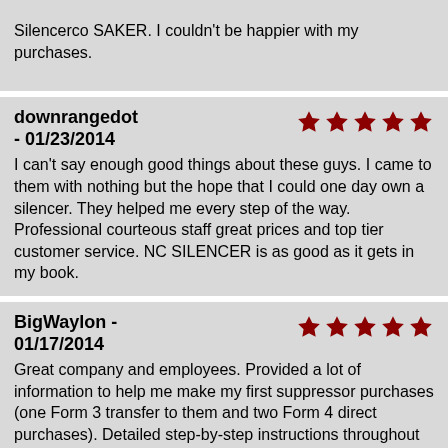Silencerco SAKER. I couldn't be happier with my purchases.
downrangedot - 01/23/2014
I can't say enough good things about these guys. I came to them with nothing but the hope that I could one day own a silencer. They helped me every step of the way. Professional courteous staff great prices and top tier customer service. NC SILENCER is as good as it gets in my book.
BigWaylon - 01/17/2014
Great company and employees. Provided a lot of information to help me make my first suppressor purchases (one Form 3 transfer to them and two Form 4 direct purchases). Detailed step-by-step instructions throughout the purchase and